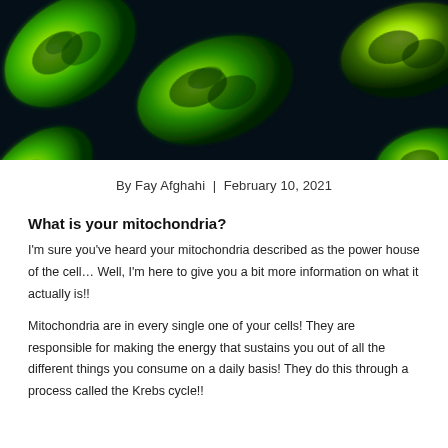[Figure (photo): Microscopy image of glowing green mitochondria on a dark navy/black background]
By Fay Afghahi  |  February 10, 2021
What is your mitochondria?
I'm sure you've heard your mitochondria described as the power house of the cell... Well, I'm here to give you a bit more information on what it actually is!!
Mitochondria are in every single one of your cells! They are responsible for making the energy that sustains you out of all the different things you consume on a daily basis! They do this through a process called the Krebs cycle!!